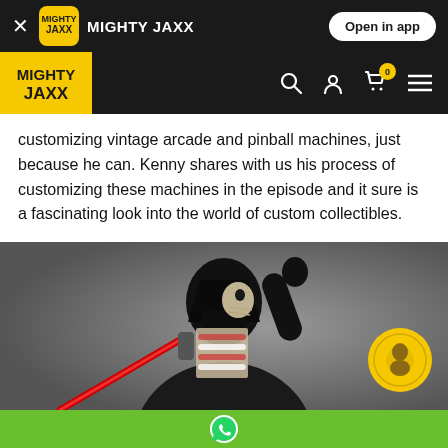MIGHTY JAXX — Open in app
[Figure (screenshot): Mighty Jaxx website navigation bar with logo, search, account, cart (0), and menu icons on dark background]
customizing vintage arcade and pinball machines, just because he can. Kenny shares with us his process of customizing these machines in the episode and it sure is a fascinating look into the world of custom collectibles.
[Figure (photo): Darth Vader anatomical figure (Jason Freeny style) showing skeleton and internal organs exposed, holding a red lightsaber, with a yellow circular badge in the bottom right corner]
WhatsApp contact button